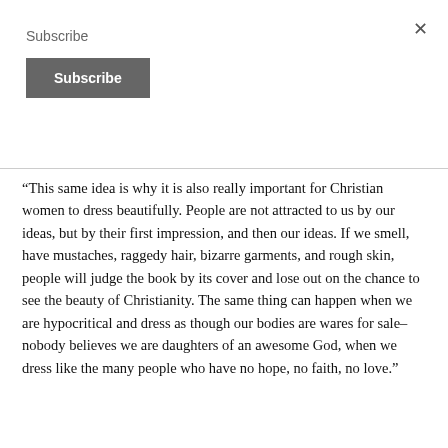Subscribe
“This same idea is why it is also really important for Christian women to dress beautifully. People are not attracted to us by our ideas, but by their first impression, and then our ideas. If we smell, have mustaches, raggedy hair, bizarre garments, and rough skin, people will judge the book by its cover and lose out on the chance to see the beauty of Christianity. The same thing can happen when we are hypocritical and dress as though our bodies are wares for sale–nobody believes we are daughters of an awesome God, when we dress like the many people who have no hope, no faith, no love.”